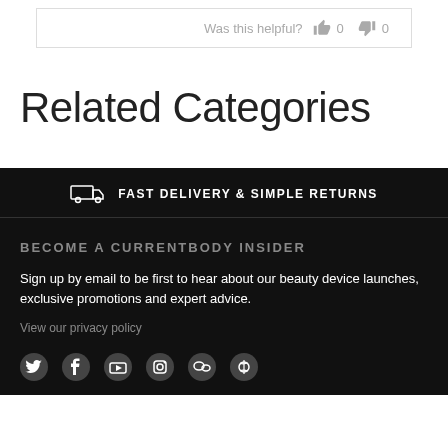Was this helpful? 👍 0 👎 0
Related Categories
FAST DELIVERY & SIMPLE RETURNS
BECOME A CURRENTBODY INSIDER
Sign up by email to be first to hear about our beauty device launches, exclusive promotions and expert advice.
View our privacy policy